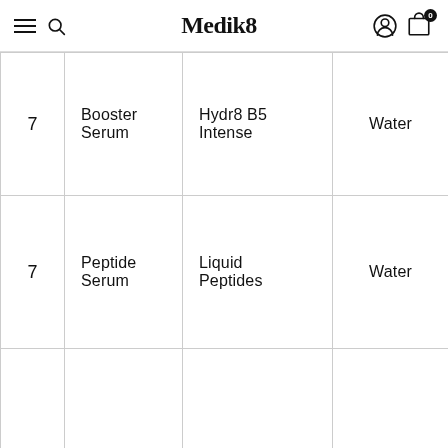Medik8
| 7 | Booster Serum | Hydr8 B5 Intense | Water |
| 7 | Peptide Serum | Liquid Peptides | Water |
|  |  |  |  |